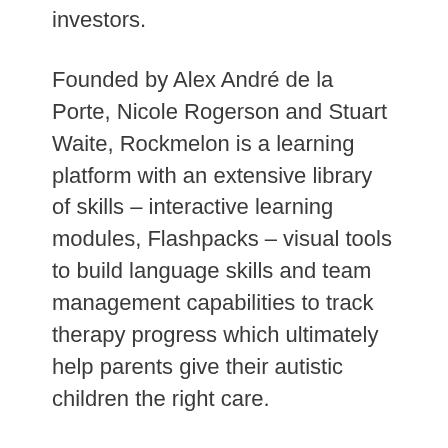investors.
Founded by Alex André de la Porte, Nicole Rogerson and Stuart Waite, Rockmelon is a learning platform with an extensive library of skills – interactive learning modules, Flashpacks – visual tools to build language skills and team management capabilities to track therapy progress which ultimately help parents give their autistic children the right care.
It all started with Alex, the Executive Chairman of Rockmelon whose son Beau was on the autism spectrum. To help his son and thousands of other children suffering from developmental delays, he conceived the idea to create a learning platform for the parents to offer real-time insights into a